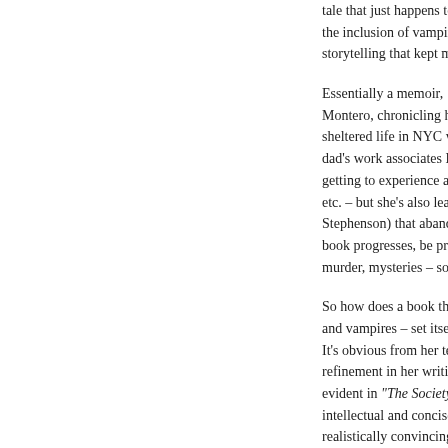tale that just happens to have the inclusion of vampires in storytelling that kept me gl
Essentially a memoir, "The Montero, chronicling her e sheltered life in NYC with dad's work associates Den getting to experience all o etc. – but she's also lea Stephenson) that abandone book progresses, be prepa murder, mysteries – solved
So how does a book that e and vampires – set itself a It's obvious from her teac refinement in her writing evident in "The Society of intellectual and concise all realistically convincing as believable and interact we staying up to speed with c such as Jack Kerouac's " Division, etc.) and role-pla command of the story is edge-of-your-seat thrills or hard to put down.